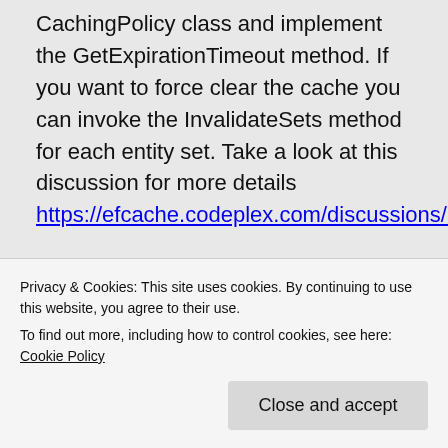CachingPolicy class and implement the GetExpirationTimeout method. If you want to force clear the cache you can invoke the InvalidateSets method for each entity set. Take a look at this discussion for more details https://efcache.codeplex.com/discussions/571007.
Pawel
★ Like
Privacy & Cookies: This site uses cookies. By continuing to use this website, you agree to their use.
To find out more, including how to control cookies, see here: Cookie Policy
Close and accept